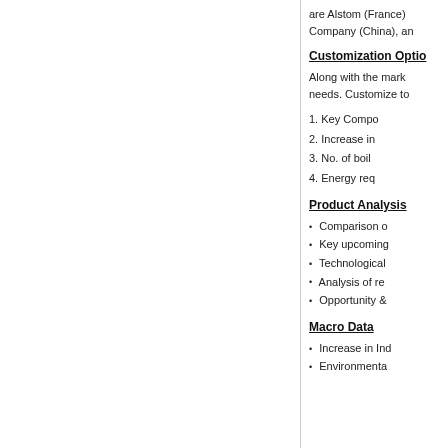are Alstom (France), Company (China), an
Customization Optio
Along with the mark needs. Customize to
1. Key Compo
2. Increase in
3. No. of boil
4. Energy req
Product Analysis
Comparison o
Key upcoming
Technological
Analysis of re
Opportunity &
Macro Data
Increase in Ind
Environmenta